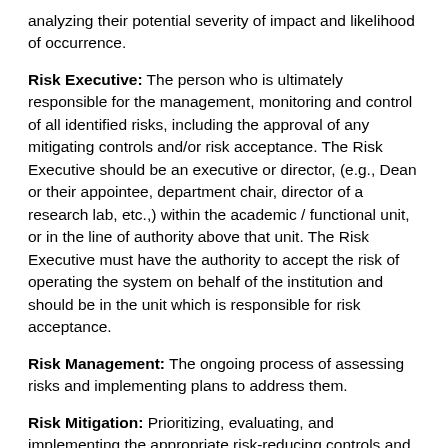analyzing their potential severity of impact and likelihood of occurrence.
Risk Executive: The person who is ultimately responsible for the management, monitoring and control of all identified risks, including the approval of any mitigating controls and/or risk acceptance. The Risk Executive should be an executive or director, (e.g., Dean or their appointee, department chair, director of a research lab, etc.,) within the academic / functional unit, or in the line of authority above that unit. The Risk Executive must have the authority to accept the risk of operating the system on behalf of the institution and should be in the unit which is responsible for risk acceptance.
Risk Management: The ongoing process of assessing risks and implementing plans to address them.
Risk Mitigation: Prioritizing, evaluating, and implementing the appropriate risk-reducing controls and countermeasures recommended from the risk management process.
Risk Treatment: The process of managing assessed or